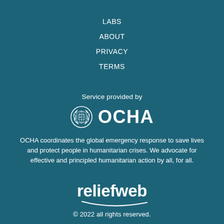LABS
ABOUT
PRIVACY
TERMS
Service provided by
[Figure (logo): OCHA logo with UN emblem and text OCHA]
OCHA coordinates the global emergency response to save lives and protect people in humanitarian crises. We advocate for effective and principled humanitarian action by all, for all.
[Figure (logo): ReliefWeb logo with swoosh underline]
© 2022 all rights reserved.